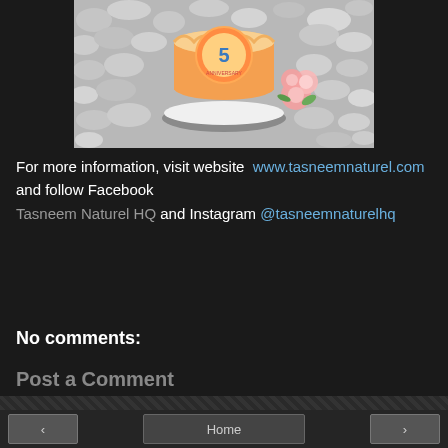[Figure (photo): A birthday cake with orange/yellow frosting and the number 5 anniversary decoration on top, surrounded by pink roses, placed on white pebbles. Photo taken from above.]
For more information, visit website  www.tasneemnaturel.com and follow Facebook Tasneem Naturel HQ and Instagram @tasneemnaturelhq
Share
No comments:
Post a Comment
Home